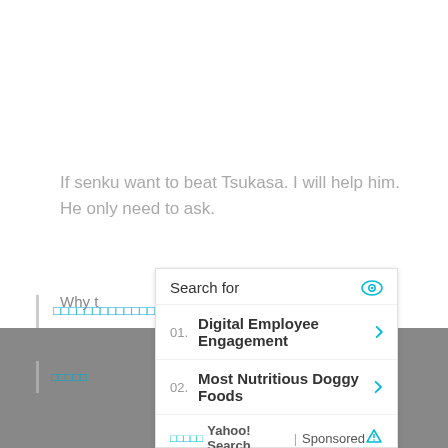If senku want to beat Tsukasa. I will help him. He only need to ask.
□□□□□□□□□□□□□□□□□□□□□□□□□□□□□□□□□□□□□
Why t...
[Figure (screenshot): Yahoo Search sponsored ad panel showing 'Search for' header with eye icon, two search result items: '01. Digital Employee Engagement' and '02. Most Nutritious Doggy Foods', each with a right chevron arrow. Footer shows Yahoo! Search | Sponsored branding.]
□□□□□Yahoo! Search | Sponsored